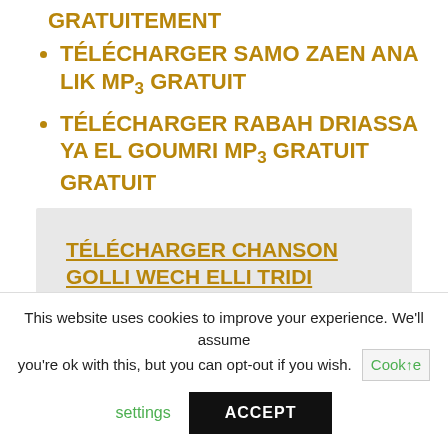GRATUITEMENT
TÉLÉCHARGER SAMO ZAEN ANA LIK MP3 GRATUIT
TÉLÉCHARGER RABAH DRIASSA YA EL GOUMRI MP3 GRATUIT GRATUIT
TÉLÉCHARGER CHANSON GOLLI WECH ELLI TRIDI GRATUIT
This website uses cookies to improve your experience. We'll assume you're ok with this, but you can opt-out if you wish. Cookie settings ACCEPT